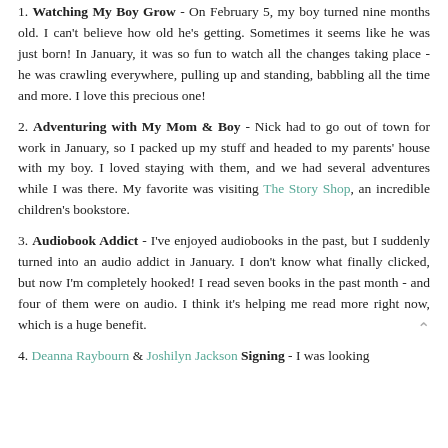1. Watching My Boy Grow - On February 5, my boy turned nine months old. I can't believe how old he's getting. Sometimes it seems like he was just born! In January, it was so fun to watch all the changes taking place - he was crawling everywhere, pulling up and standing, babbling all the time and more. I love this precious one!
2. Adventuring with My Mom & Boy - Nick had to go out of town for work in January, so I packed up my stuff and headed to my parents' house with my boy. I loved staying with them, and we had several adventures while I was there. My favorite was visiting The Story Shop, an incredible children's bookstore.
3. Audiobook Addict - I've enjoyed audiobooks in the past, but I suddenly turned into an audio addict in January. I don't know what finally clicked, but now I'm completely hooked! I read seven books in the past month - and four of them were on audio. I think it's helping me read more right now, which is a huge benefit.
4. Deanna Raybourn & Joshilyn Jackson Signing - I was looking